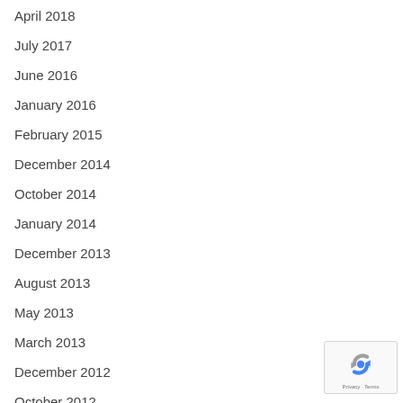April 2018
July 2017
June 2016
January 2016
February 2015
December 2014
October 2014
January 2014
December 2013
August 2013
May 2013
March 2013
December 2012
October 2012
[Figure (logo): Google reCAPTCHA badge with Privacy and Terms links]